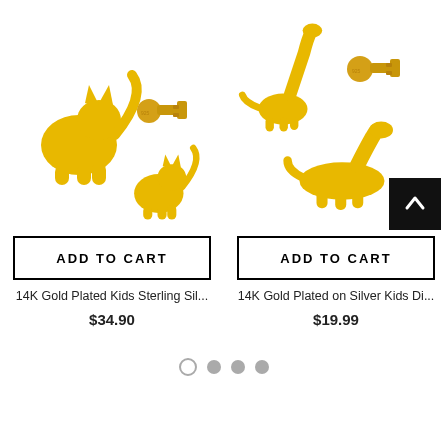[Figure (photo): Gold plated cat earrings studs, showing cat silhouette and earring back]
[Figure (photo): Gold plated dinosaur earrings studs, showing dinosaur silhouette and earring back, with scroll-to-top button overlay]
ADD TO CART
ADD TO CART
14K Gold Plated Kids Sterling Sil...
14K Gold Plated on Silver Kids Di...
$34.90
$19.99